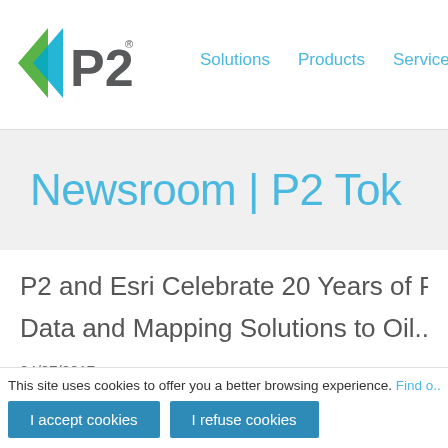Solutions   Products   Services   Supp
Newsroom | P2 Tok
P2 and Esri Celebrate 20 Years of P... Data and Mapping Solutions to Oil...
04/07/2017
This site uses cookies to offer you a better browsing experience. Find o...
I accept cookies   I refuse cookies